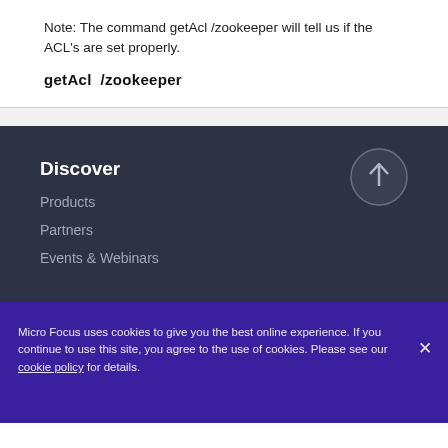Note: The command getAcl /zookeeper will tell us if the ACL's are set properly.
getAcl  /zookeeper
Discover
Products
Partners
Events & Webinars
Micro Focus uses cookies to give you the best online experience. If you continue to use this site, you agree to the use of cookies. Please see our cookie policy for details.